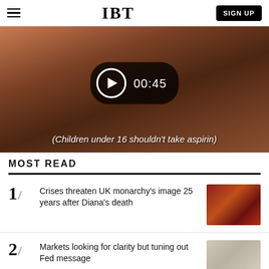IBT
[Figure (screenshot): Video thumbnail showing a close-up of a hand, with a play button overlay showing 00:45, and subtitle text: (Children under 16 shouldn't take aspirin)]
MOST READ
1/ Crises threaten UK monarchy's image 25 years after Diana's death
2/ Markets looking for clarity but tuning out Fed message